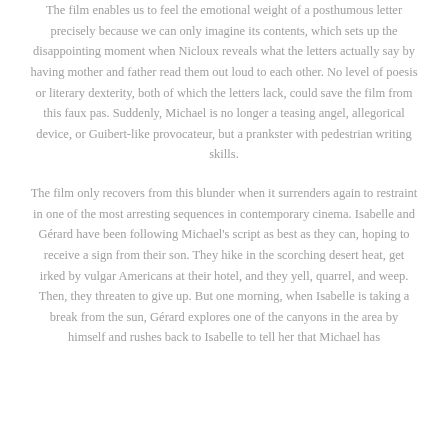The film enables us to feel the emotional weight of a posthumous letter precisely because we can only imagine its contents, which sets up the disappointing moment when Nicloux reveals what the letters actually say by having mother and father read them out loud to each other. No level of poesis or literary dexterity, both of which the letters lack, could save the film from this faux pas. Suddenly, Michael is no longer a teasing angel, allegorical device, or Guibert-like provocateur, but a prankster with pedestrian writing skills.
The film only recovers from this blunder when it surrenders again to restraint in one of the most arresting sequences in contemporary cinema. Isabelle and Gérard have been following Michael's script as best as they can, hoping to receive a sign from their son. They hike in the scorching desert heat, get irked by vulgar Americans at their hotel, and they yell, quarrel, and weep. Then, they threaten to give up. But one morning, when Isabelle is taking a break from the sun, Gérard explores one of the canyons in the area by himself and rushes back to Isabelle to tell her that Michael has